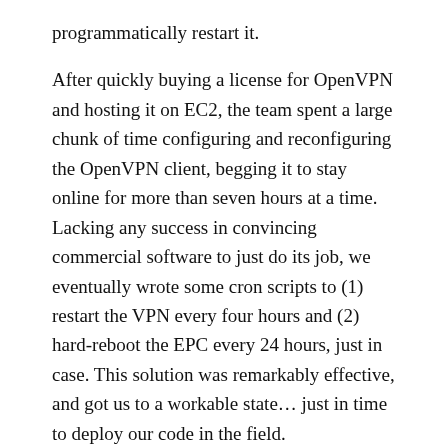programmatically restart it.

After quickly buying a license for OpenVPN and hosting it on EC2, the team spent a large chunk of time configuring and reconfiguring the OpenVPN client, begging it to stay online for more than seven hours at a time. Lacking any success in convincing commercial software to just do its job, we eventually wrote some cron scripts to (1) restart the VPN every four hours and (2) hard-reboot the EPC every 24 hours, just in case. This solution was remarkably effective, and got us to a workable state... just in time to deploy our code in the field.